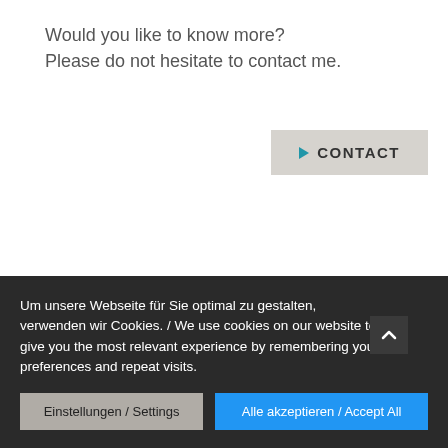Would you like to know more?
Please do not hesitate to contact me.
[Figure (other): Button labeled CONTACT with blue right-pointing arrow on grey background]
[Figure (photo): Blurred dark brownish photo background, appears to show architectural or abstract geometric forms]
Um unsere Webseite für Sie optimal zu gestalten, verwenden wir Cookies. / We use cookies on our website to give you the most relevant experience by remembering your preferences and repeat visits.
[Figure (other): Einstellungen / Settings button (grey) and Alle akzeptieren / Accept All button (blue)]